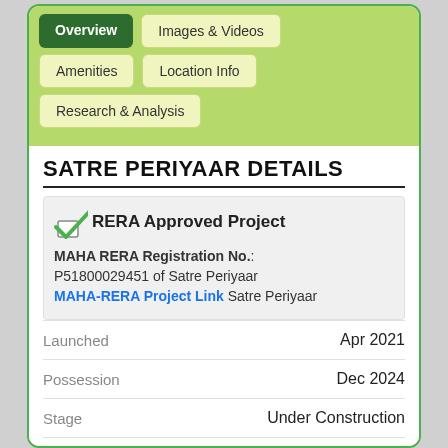[Figure (screenshot): Navigation tabs: Overview (active, dark green), Images & Videos, Amenities, Location Info, Research & Analysis on a light green background]
SATRE PERIYAAR DETAILS
RERA Approved Project
MAHA RERA Registration No.: P51800029451 of Satre Periyaar MAHA-RERA Project Link Satre Periyaar
| Field | Value |
| --- | --- |
| Launched | Apr 2021 |
| Possession | Dec 2024 |
| Stage | Under Construction |
| Bedrooms | 1/2 BHK |